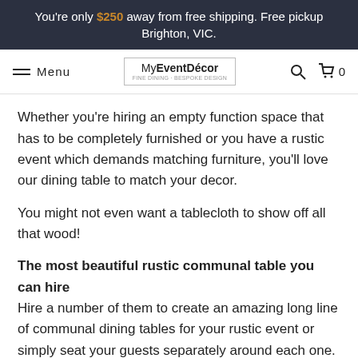You're only $250 away from free shipping. Free pickup Brighton, VIC.
Menu | MyEventDecor | Search | Cart 0
Whether you're hiring an empty function space that has to be completely furnished or you have a rustic event which demands matching furniture, you'll love our dining table to match your decor.
You might not even want a tablecloth to show off all that wood!
The most beautiful rustic communal table you can hire Hire a number of them to create an amazing long line of communal dining tables for your rustic event or simply seat your guests separately around each one.
Your table will seat: